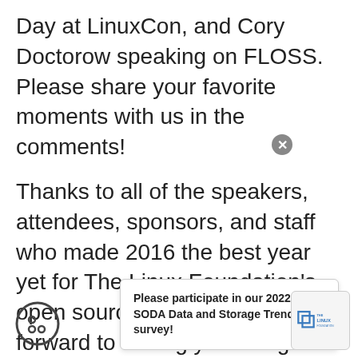Day at LinuxCon, and Cory Doctorow speaking on FLOSS. Please share your favorite moments with us in the comments!
Thanks to all of the speakers, attendees, sponsors, and staff who made 2016 the best year yet for The Linux Foundation's open source events. We look forward to seeing you all again in 2017.
You can see the complete 2017 event schedule now
Please participate in our 2022 SODA Data and Storage Trends survey!
[Figure (logo): The Linux Foundation logo in a rounded square box]
[Figure (illustration): Cookie consent icon - a cookie with dots]